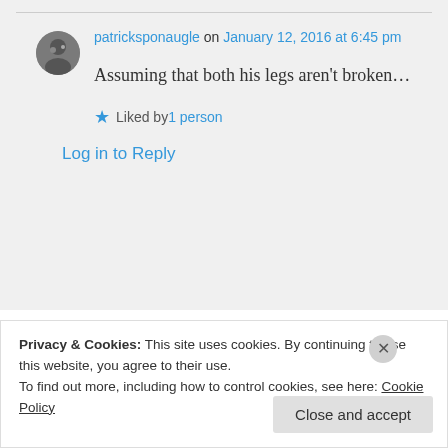patricksponaugle on January 12, 2016 at 6:45 pm
Assuming that both his legs aren't broken…
★ Liked by 1 person
Log in to Reply
Privacy & Cookies: This site uses cookies. By continuing to use this website, you agree to their use.
To find out more, including how to control cookies, see here: Cookie Policy
Close and accept